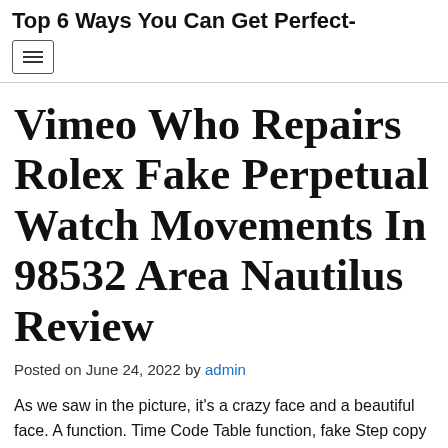Top 6 Ways You Can Get Perfect-
[Figure (other): Hamburger navigation menu button icon]
Vimeo Who Repairs Rolex Fake Perpetual Watch Movements In 98532 Area Nautilus Review
Posted on June 24, 2022 by admin
As we saw in the picture, it's a crazy face and a beautiful face. A function. Time Code Table function, fake Step copy 6:00. Sun. websites Moon. 12:00. 24 Hours 9:00 I'm